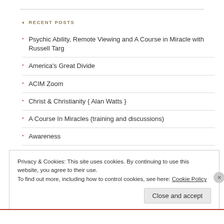RECENT POSTS
Psychic Ability, Remote Viewing and A Course in Miracle with Russell Targ
America's Great Divide
ACIM Zoom
Christ & Christianity { Alan Watts }
A Course In Miracles (training and discussions)
Awareness
Imagination creates reality
The World As Emptiness, and Being Let Go
Privacy & Cookies: This site uses cookies. By continuing to use this website, you agree to their use.
To find out more, including how to control cookies, see here: Cookie Policy
Close and accept